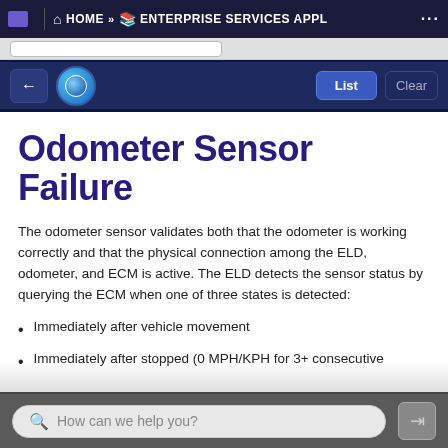HOME » ENTERPRISE SERVICES APPL ...
Odometer Sensor Failure
The odometer sensor validates both that the odometer is working correctly and that the physical connection among the ELD, odometer, and ECM is active. The ELD detects the sensor status by querying the ECM when one of three states is detected:
Immediately after vehicle movement
Immediately after stopped (0 MPH/KPH for 3+ consecutive